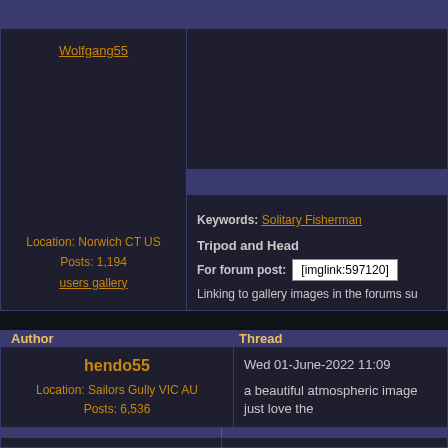|  |  |
| --- | --- |
| Wolfgang55 |  |
|  | Keywords: Solitary Fisherman |
|  | Tripod and Head |
|  | For forum post: [imglink:597120] |
|  | Linking to gallery images in the forums su |
| Location: Norwich CT US
Posts: 1,194
users gallery |  |
| Author | Thread |
| --- | --- |
| hendo55
Location: Sailors Gully VIC AU
Posts: 6,536 | Wed 01-June-2022 11:09
a beautiful atmospheric image just love the |
|  |  |
| (partial) |  |